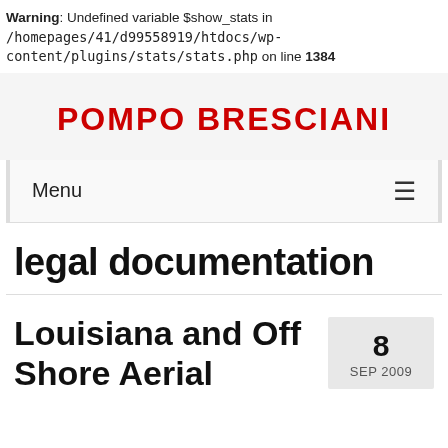Warning: Undefined variable $show_stats in /homepages/41/d99558919/htdocs/wp-content/plugins/stats/stats.php on line 1384
POMPO BRESCIANI
Menu
legal documentation
Louisiana and Off Shore Aerial
8 SEP 2009